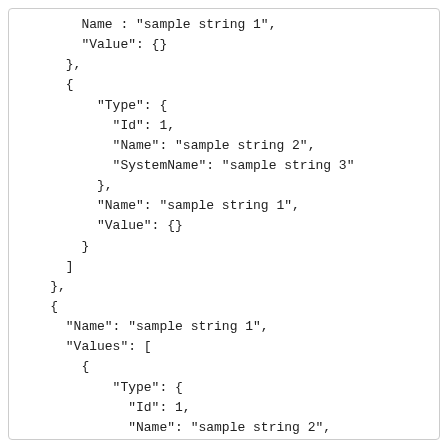Name : "sample string 1",
    "Value": {}
},
{
    "Type": {
      "Id": 1,
      "Name": "sample string 2",
      "SystemName": "sample string 3"
    },
    "Name": "sample string 1",
    "Value": {}
  }
]
},
{
  "Name": "sample string 1",
  "Values": [
    {
      "Type": {
        "Id": 1,
        "Name": "sample string 2",
        "SystemName": "sample string 3"
      },